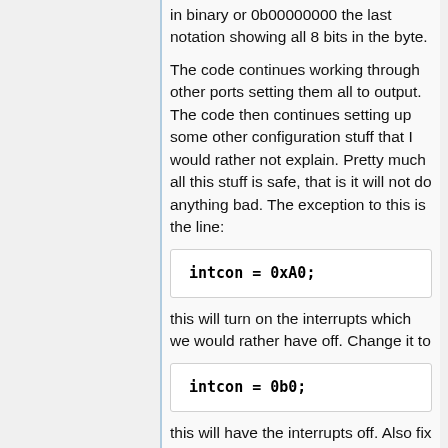in binary or 0b00000000 the last notation showing all 8 bits in the byte.
The code continues working through other ports setting them all to output. The code then continues setting up some other configuration stuff that I would rather not explain. Pretty much all this stuff is safe, that is it will not do anything bad. The exception to this is the line:
intcon = 0xA0;
this will turn on the interrupts which we would rather have off. Change it to
intcon = 0b0;
this will have the interrupts off. Also fix the comment just above this line so it is